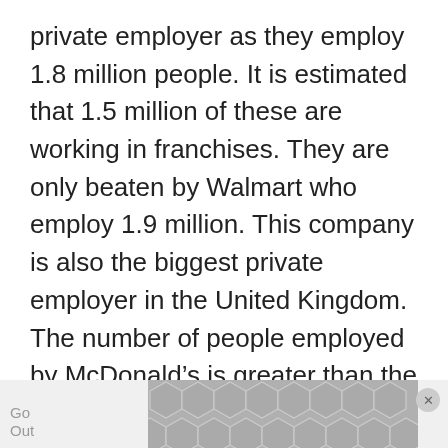private employer as they employ 1.8 million people. It is estimated that 1.5 million of these are working in franchises. They are only beaten by Walmart who employ 1.9 million. This company is also the biggest private employer in the United Kingdom. The number of people employed by McDonald's is greater than the population of Philadelphia, which is home to 1.5 million people. Employees must be happy to work for this fast-food chain as their oldest employee is 92.
[Figure (other): Advertisement banner at the bottom of the page with a hexagonal pattern graphic, partial text 'Go' and 'Out' on the left, and a close button on the right.]